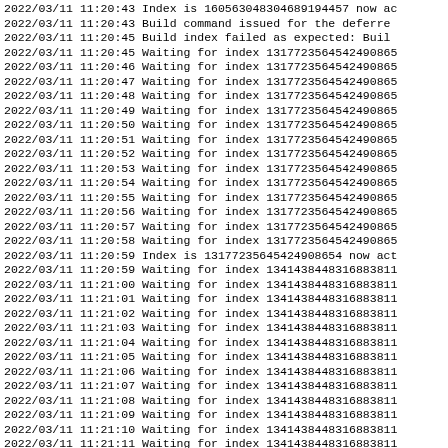2022/03/11 11:20:43 Index is 160563048304689194457 now ac
2022/03/11 11:20:43 Build command issued for the deferre
2022/03/11 11:20:45 Build index failed as expected: Buil
2022/03/11 11:20:45 Waiting for index 13177235645424908654
2022/03/11 11:20:46 Waiting for index 13177235645424908654
2022/03/11 11:20:47 Waiting for index 13177235645424908654
2022/03/11 11:20:48 Waiting for index 13177235645424908654
2022/03/11 11:20:49 Waiting for index 13177235645424908654
2022/03/11 11:20:50 Waiting for index 13177235645424908654
2022/03/11 11:20:51 Waiting for index 13177235645424908654
2022/03/11 11:20:52 Waiting for index 13177235645424908654
2022/03/11 11:20:53 Waiting for index 13177235645424908654
2022/03/11 11:20:54 Waiting for index 13177235645424908654
2022/03/11 11:20:55 Waiting for index 13177235645424908654
2022/03/11 11:20:56 Waiting for index 13177235645424908654
2022/03/11 11:20:57 Waiting for index 13177235645424908654
2022/03/11 11:20:58 Waiting for index 13177235645424908654
2022/03/11 11:20:59 Index is 13177235645424908654 now act
2022/03/11 11:20:59 Waiting for index 134143844831688381...
2022/03/11 11:21:00 Waiting for index 134143844831688381...
2022/03/11 11:21:01 Waiting for index 134143844831688381...
2022/03/11 11:21:02 Waiting for index 134143844831688381...
2022/03/11 11:21:03 Waiting for index 134143844831688381...
2022/03/11 11:21:04 Waiting for index 134143844831688381...
2022/03/11 11:21:05 Waiting for index 134143844831688381...
2022/03/11 11:21:06 Waiting for index 134143844831688381...
2022/03/11 11:21:07 Waiting for index 134143844831688381...
2022/03/11 11:21:08 Waiting for index 134143844831688381...
2022/03/11 11:21:09 Waiting for index 134143844831688381...
2022/03/11 11:21:10 Waiting for index 134143844831688381...
2022/03/11 11:21:11 Waiting for index 134143844831688381...